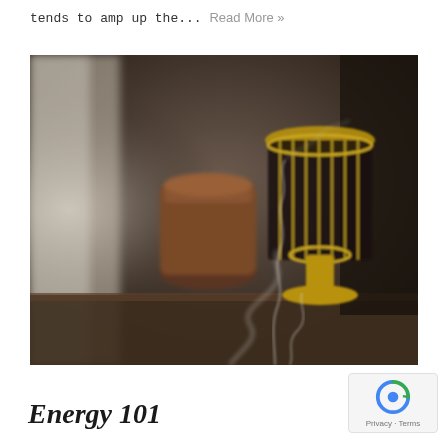tends to amp up the... Read More »
[Figure (photo): Photo of two African djembe drums on a wooden surface with smoke rising in the foreground, dark moody background with curtains]
Energy 101